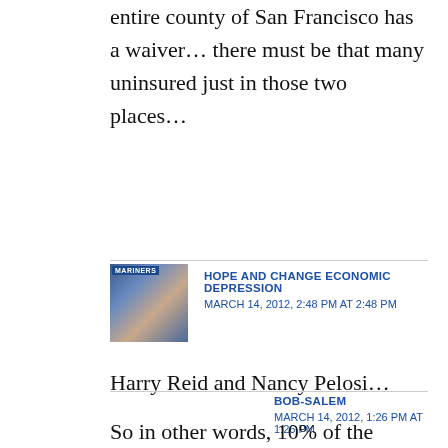entire county of San Francisco has a waiver… there must be that many uninsured just in those two places…
HOPE AND CHANGE ECONOMIC DEPRESSION
MARCH 14, 2012, 2:48 PM AT 2:48 PM

Harry Reid and Nancy Pelosi…
BOB-SALEM
MARCH 14, 2012, 1:26 PM AT 1:26 PM
So in other words, 10% of the people that